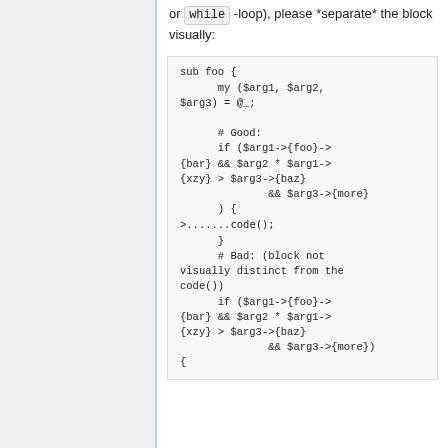or while -loop), please *separate* the block visually:
[Figure (screenshot): Code block showing Perl subroutine with good and bad examples of visually separating an if-block from surrounding code.]